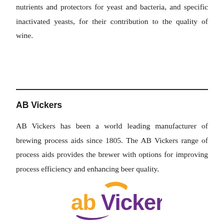nutrients and protectors for yeast and bacteria, and specific inactivated yeasts, for their contribution to the quality of wine.
AB Vickers
AB Vickers has been a world leading manufacturer of brewing process aids since 1805. The AB Vickers range of process aids provides the brewer with options for improving process efficiency and enhancing beer quality.
[Figure (logo): AB Vickers logo with 'ab' in orange and 'Vickers' in purple, with a purple swoosh beneath]